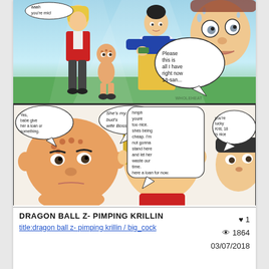[Figure (illustration): Dragon Ball Z fan comic strip in two panels. Top panel shows Android 18 (blonde woman in red), Krillin (short bald child-like figure), a woman in traditional Korean dress holding money, and a sweating man on the right with a speech bubble saying 'Please this is all I have right now 18-san...' with artist signature 'wholeheat'. Bottom panel shows close-up faces: Krillin on the left with speech bubbles ('Yes, babe give her a loan or something.' and 'She's my bud's wife Boss'), Android 18 in the center with speech bubble ('hmph youre too nice. shes being cheap. I'm not gonna stand here and let her waste our time. here a loan for now.'), and a male face on the right with speech bubble ('you're lucky Krill, 18 is nice').]
DRAGON BALL Z- PIMPING KRILLIN
title:dragon ball z- pimping krillin / big_cock
♥ 1
👁 1864
03/07/2018